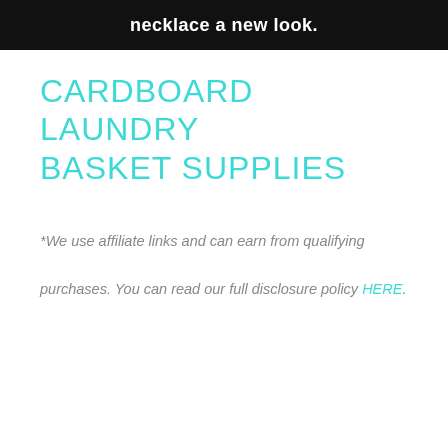[Figure (photo): Dark banner image with bold white text reading 'necklace a new look.' with a blurred pink/purple background]
CARDBOARD LAUNDRY BASKET SUPPLIES
*We use affiliate links and can earn from qualifying purchases. You can read our full disclosure policy HERE.